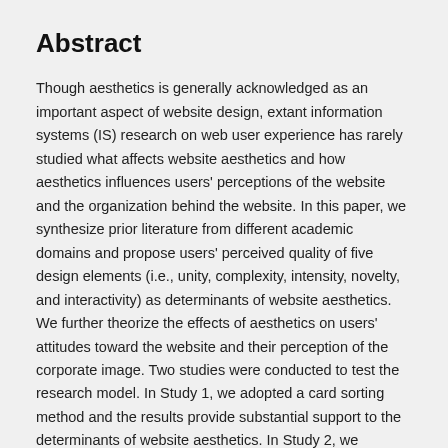Abstract
Though aesthetics is generally acknowledged as an important aspect of website design, extant information systems (IS) research on web user experience has rarely studied what affects website aesthetics and how aesthetics influences users' perceptions of the website and the organization behind the website. In this paper, we synthesize prior literature from different academic domains and propose users' perceived quality of five design elements (i.e., unity, complexity, intensity, novelty, and interactivity) as determinants of website aesthetics. We further theorize the effects of aesthetics on users' attitudes toward the website and their perception of the corporate image. Two studies were conducted to test the research model. In Study 1, we adopted a card sorting method and the results provide substantial support to the determinants of website aesthetics. In Study 2, we conducted a survey using ten company portal websites that were unknown to survey respondents. Our analysis further confirms the